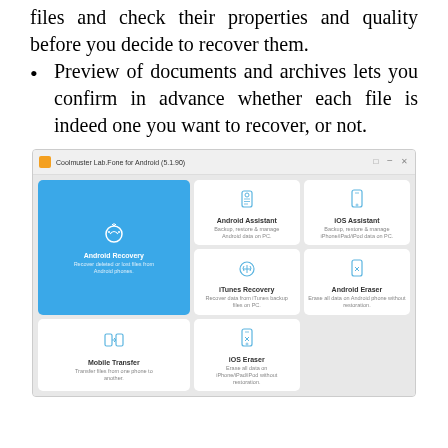files and check their properties and quality before you decide to recover them.
Preview of documents and archives lets you confirm in advance whether each file is indeed one you want to recover, or not.
[Figure (screenshot): Screenshot of Coolmuster Lab.Fone for Android (5.1.90) application showing six tiles: Android Recovery (active/blue, large), Android Assistant, iOS Assistant, iTunes Recovery, Mobile Transfer, Android Eraser, iOS Eraser.]